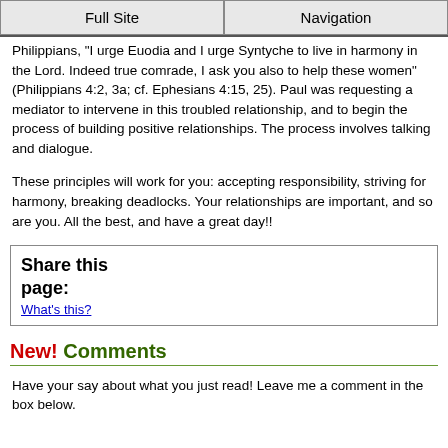Full Site | Navigation
Philippians, "I urge Euodia and I urge Syntyche to live in harmony in the Lord. Indeed true comrade, I ask you also to help these women" (Philippians 4:2, 3a; cf. Ephesians 4:15, 25). Paul was requesting a mediator to intervene in this troubled relationship, and to begin the process of building positive relationships. The process involves talking and dialogue.
These principles will work for you: accepting responsibility, striving for harmony, breaking deadlocks. Your relationships are important, and so are you. All the best, and have a great day!!
Share this page:
What's this?
New! Comments
Have your say about what you just read! Leave me a comment in the box below.